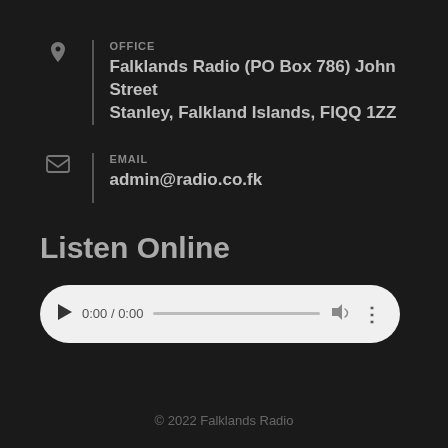OFFICE
Falklands Radio (PO Box 786) John Street Stanley, Falkland Islands, FIQQ 1ZZ
EMAIL
admin@radio.co.fk
Listen Online
[Figure (other): Audio player widget showing 0:00 / 0:00 with play button, progress bar, volume icon, and more options icon on a white rounded rectangle background]
© 2022 Falklands Radio